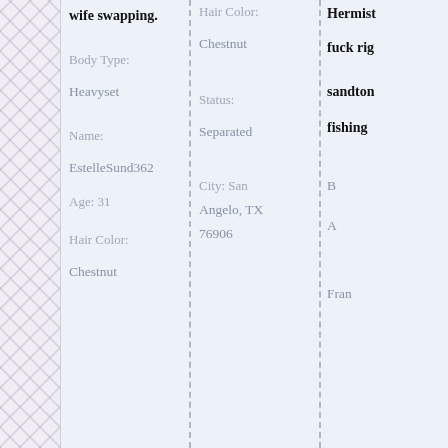wife swapping.
Body Type:
Heavyset
Name:
EstelleSund362
Age: 31
Hair Color:
Chestnut
Hair Color:
Chestnut
Status:
Separated
City: San Angelo, TX 76906
Hermist
fuck rig
sandton
fishing
B
A
Fran